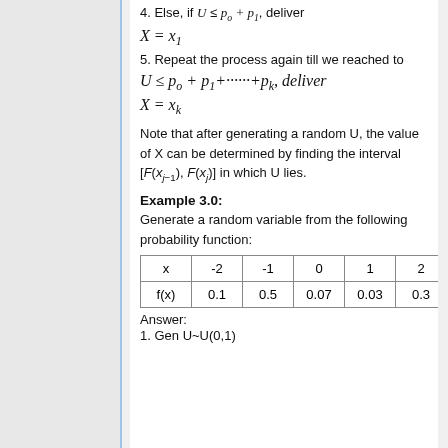4. Else, if U ≤ p_o + p_1, deliver X = x_1
5. Repeat the process again till we reached to U ≤ p_o + p_1 + …… + p_k, deliver X = x_k
Note that after generating a random U, the value of X can be determined by finding the interval [F(x_{j-1}), F(x_j)] in which U lies.
Example 3.0:
Generate a random variable from the following probability function:
| x | -2 | -1 | 0 | 1 | 2 |
| --- | --- | --- | --- | --- | --- |
| f(x) | 0.1 | 0.5 | 0.07 | 0.03 | 0.3 |
Answer:
1. Gen U~U(0,1)